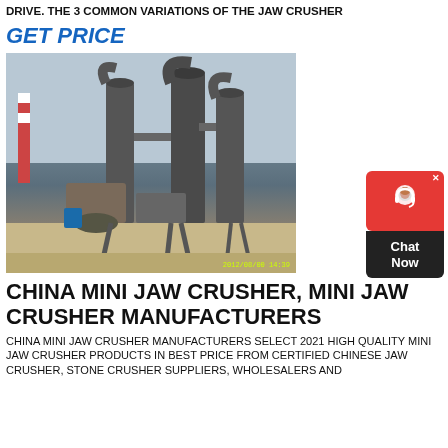DRIVE. THE 3 COMMON VARIATIONS OF THE JAW CRUSHER
GET PRICE
[Figure (photo): Industrial jaw crusher / grinding mill facility with large cylindrical dust collectors and metal framework structures, photographed outdoors with timestamp 2012/08/00 14:39]
[Figure (other): Red and black chat widget with headset icon and 'Chat Now' text]
CHINA MINI JAW CRUSHER, MINI JAW CRUSHER MANUFACTURERS
CHINA MINI JAW CRUSHER MANUFACTURERS SELECT 2021 HIGH QUALITY MINI JAW CRUSHER PRODUCTS IN BEST PRICE FROM CERTIFIED CHINESE JAW CRUSHER, STONE CRUSHER SUPPLIERS, WHOLESALERS AND